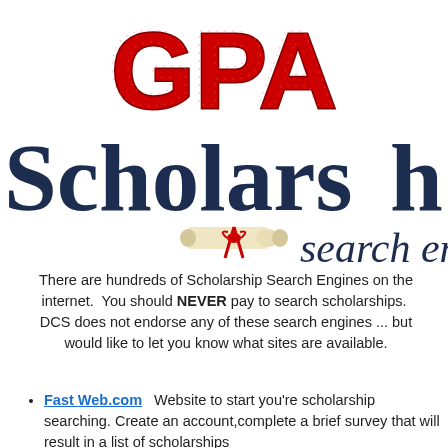[Figure (logo): 3D red GPA logo text at the top of the page]
[Figure (logo): Scholarship search engine logo with large dark blue serif text 'Scholarship' and 'search engine' with a diploma scroll icon]
There are hundreds of Scholarship Search Engines on the internet.  You should NEVER pay to search scholarships.  DCS does not endorse any of these search engines ... but would like to let you know what sites are available.
Fast Web.com   Website to start you're scholarship searching. Create an account,complete a brief  survey that will result in a list of scholarships